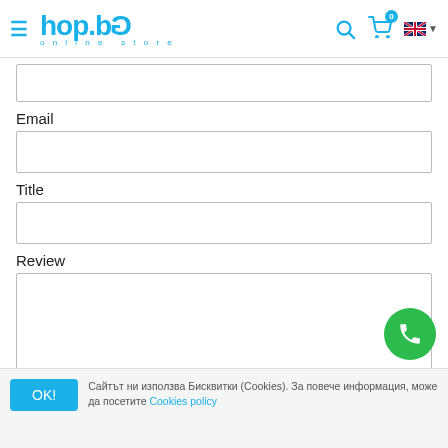[Figure (logo): hop.bg online store logo with hamburger menu icon on left, search icon and cart icon with badge '0' and UK flag dropdown on right]
(partial input field at top, no label visible)
Email
Title
Review
[Figure (other): Green circular phone/call button in bottom right]
OK! Сайтът ни използва Бисквитки (Cookies). За повече информация, може да посетите Cookies policy